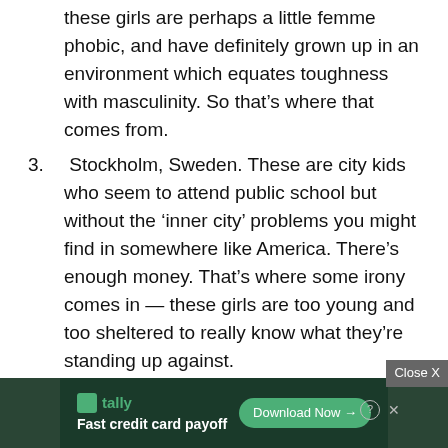these girls are perhaps a little femme phobic, and have definitely grown up in an environment which equates toughness with masculinity. So that’s where that comes from.
3.  Stockholm, Sweden. These are city kids who seem to attend public school but without the ‘inner city’ problems you might find in somewhere like America. There’s enough money. That’s where some irony comes in — these girls are too young and too sheltered to really know what they’re standing up against.
4. Winter.
[Figure (photo): Advertisement banner: Tally app ad with 'Fast credit card payoff' tagline and 'Download Now' button on dark green background. A 'Close X' button appears in the top right corner.]